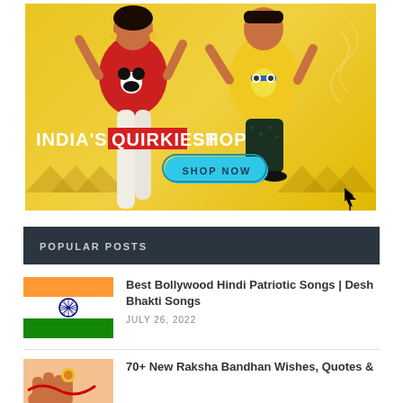[Figure (photo): India's Quirkiest Shop advertisement banner featuring a woman in Mickey Mouse red t-shirt and a man in yellow Minions tank top on yellow background with 'INDIA'S QUIRKIEST SHOP' text and 'SHOP NOW' button]
POPULAR POSTS
[Figure (photo): Thumbnail of Indian flag with orange, white, and green stripes with Ashoka chakra, captioned 'Best Bollywood Hindi Patriotic Songs']
Best Bollywood Hindi Patriotic Songs | Desh Bhakti Songs
JULY 26, 2022
[Figure (photo): Thumbnail showing hands with rakhi thread, partially visible]
70+ New Raksha Bandhan Wishes, Quotes &